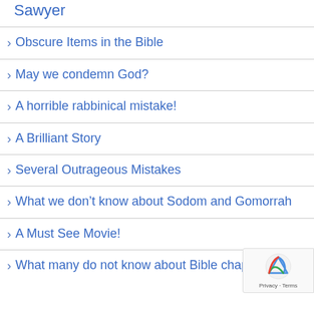Sawyer
Obscure Items in the Bible
May we condemn God?
A horrible rabbinical mistake!
A Brilliant Story
Several Outrageous Mistakes
What we don't know about Sodom and Gomorrah
A Must See Movie!
What many do not know about Bible chapters